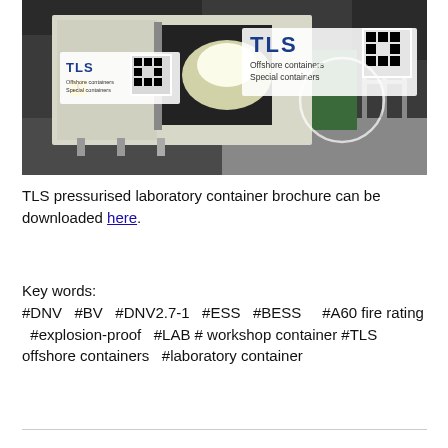[Figure (photo): Photo of a TLS pressurised laboratory container inside a warehouse/industrial facility. The container is white, open at the front showing interior lighting. TLS Offshore containers / Special containers logos with QR codes visible in top-left and center of image.]
TLS pressurised laboratory container brochure can be downloaded here.
Key words:
#DNV   #BV   #DNV2.7-1   #ESS   #BESS     #A60 fire rating   #explosion-proof   #LAB # workshop container  #TLS offshore containers  #laboratory container